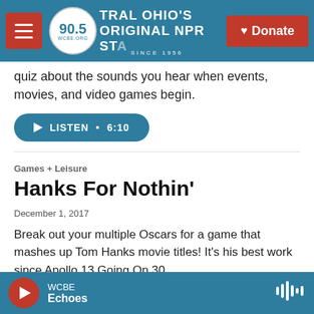[Figure (screenshot): WCBE 90.5 NPR station navigation bar with hamburger menu, circular logo reading '90.5 WCBE.ORG', text 'CENTRAL OHIO'S ORIGINAL NPR STATION SINCE 1956', and red Donate button with heart icon]
quiz about the sounds you hear when events, movies, and video games begin.
LISTEN • 6:10
Games + Leisure
Hanks For Nothin'
December 1, 2017
Break out your multiple Oscars for a game that mashes up Tom Hanks movie titles! It's his best work since Apollo 13 Going On 30.
[Figure (screenshot): Partially visible teal Listen button at bottom of article]
WCBE Echoes — player bar with play button and waveform icon